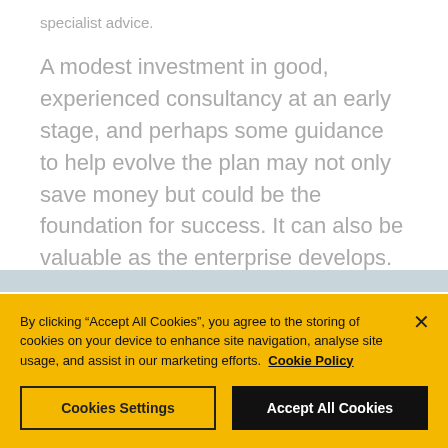specialist advice.
A modest investment in good, experienced consultancy at an early stage, and perhaps some guidance to help evolve the plan may not only save money but could be the foundation for success. It can also be valuable as the enterprise develops.
[Figure (photo): Partial image strip visible near bottom of content area]
By clicking "Accept All Cookies", you agree to the storing of cookies on your device to enhance site navigation, analyse site usage, and assist in our marketing efforts.  Cookie Policy
Cookies Settings
Accept All Cookies